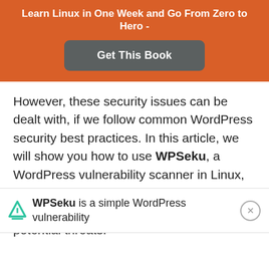Learn Linux in One Week and Go From Zero to Hero -
[Figure (other): Get This Book button on orange banner]
However, these security issues can be dealt with, if we follow common WordPress security best practices. In this article, we will show you how to use WPSeku, a WordPress vulnerability scanner in Linux, that can be used to find security holes in your WordPress installation and block potential threats.
WPSeku is a simple WordPress vulnerability ...